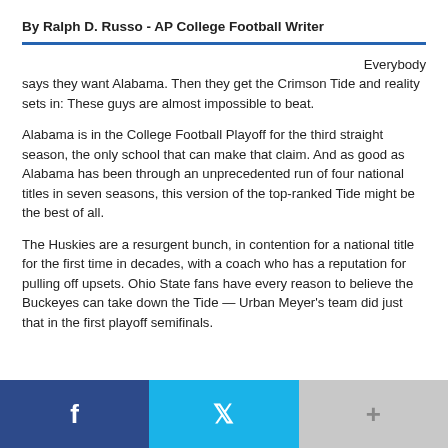By Ralph D. Russo - AP College Football Writer
Everybody says they want Alabama. Then they get the Crimson Tide and reality sets in: These guys are almost impossible to beat.
Alabama is in the College Football Playoff for the third straight season, the only school that can make that claim. And as good as Alabama has been through an unprecedented run of four national titles in seven seasons, this version of the top-ranked Tide might be the best of all.
The Huskies are a resurgent bunch, in contention for a national title for the first time in decades, with a coach who has a reputation for pulling off upsets. Ohio State fans have every reason to believe the Buckeyes can take down the Tide — Urban Meyer's team did just that in the first playoff semifinals.